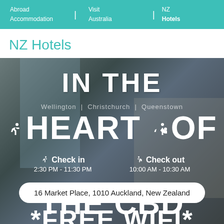Abroad Accommodation | Visit Australia | NZ Hotels
NZ Hotels
[Figure (photo): Hotel room interior showing a modern apartment-style room with city view through large windows, overlaid with large white text reading IN THE HEART OF THE CBD, check-in/check-out times, an address pill showing 16 Market Place, 1010 Auckland, New Zealand, and FREE WIFI text at the bottom.]